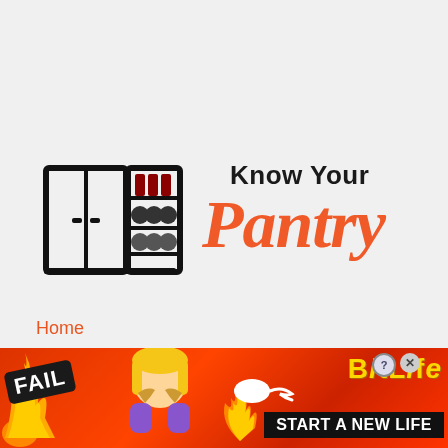[Figure (logo): Know Your Pantry logo: a pantry/cabinet icon on the left (two-door cabinet with shelves containing bottles and jars, drawn in black outline style) and text 'Know Your Pantry' on the right, where 'Know Your' is in bold black sans-serif and 'Pantry' is in large orange italic script font.]
Home
[Figure (screenshot): Advertisement banner for BitLife game. Red/orange flame background. Left side shows 'FAIL' badge, fire flames, and a cartoon blonde woman facepalming. Center has an orange flame. Right side shows a sperm icon, 'BitLife' in yellow bold text, and 'START A NEW LIFE' in white bold text on black background. Close (X) and help (?) buttons in top right corner.]